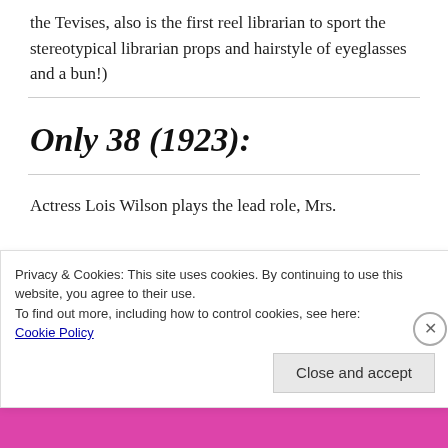the Tevises, also is the first reel librarian to sport the stereotypical librarian props and hairstyle of eyeglasses and a bun!)
Only 38 (1923):
Actress Lois Wilson plays the lead role, Mrs.
Privacy & Cookies: This site uses cookies. By continuing to use this website, you agree to their use.
To find out more, including how to control cookies, see here:
Cookie Policy
Close and accept